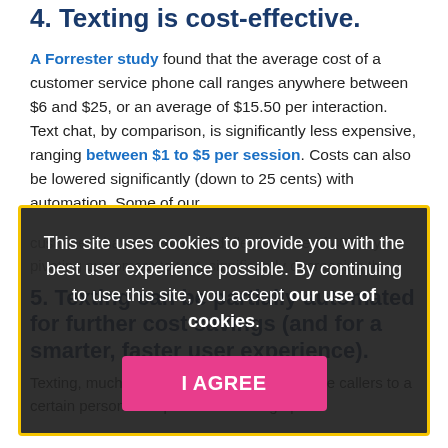4. Texting is cost-effective.
A Forrester study found that the average cost of a customer service phone call ranges anywhere between $6 and $25, or an average of $15.50 per interaction. Text chat, by comparison, is significantly less expensive, ranging between $1 to $5 per session. Costs can also be lowered significantly (down to 25 cents) with automation. Some of our
customers have seen a call deflection rate of 40% by pivoting customers to text, significantly decreasing th
This site uses cookies to provide you with the best user experience possible. By continuing to use this site, you accept our use of cookies.
5. Texting can be partially automated for further cost savings (and for a smarter, faster user experience).
Texting, much like IVRs, can intelligently route callers to a certain person or department. Setting up a